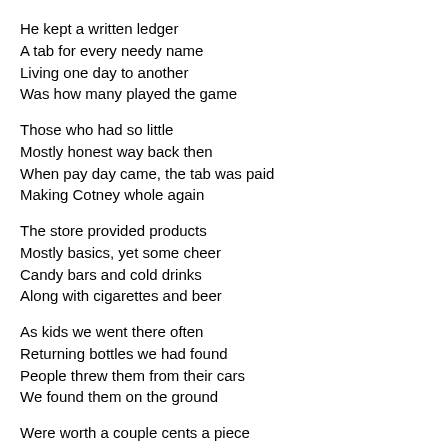He kept a written ledger
A tab for every needy name
Living one day to another
Was how many played the game
Those who had so little
Mostly honest way back then
When pay day came, the tab was paid
Making Cotney whole again
The store provided products
Mostly basics, yet some cheer
Candy bars and cold drinks
Along with cigarettes and beer
As kids we went there often
Returning bottles we had found
People threw them from their cars
We found them on the ground
Were worth a couple cents a piece
Cotney paid us every time
We purchased candy for a penny
And a drink was but a dime